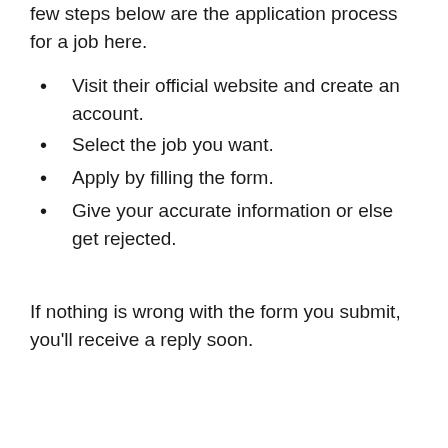few steps below are the application process for a job here.
Visit their official website and create an account.
Select the job you want.
Apply by filling the form.
Give your accurate information or else get rejected.
If nothing is wrong with the form you submit, you'll receive a reply soon.